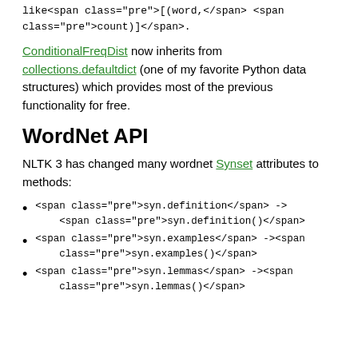like <span class="pre">[(word,</span> <span class="pre">count)]</span>.
ConditionalFreqDist now inherits from collections.defaultdict (one of my favorite Python data structures) which provides most of the previous functionality for free.
WordNet API
NLTK 3 has changed many wordnet Synset attributes to methods:
<span class="pre">syn.definition</span> -> <span class="pre">syn.definition()</span>
<span class="pre">syn.examples</span> -> <span class="pre">syn.examples()</span>
<span class="pre">syn.lemmas</span> -> <span class="pre">syn.lemmas()</span>